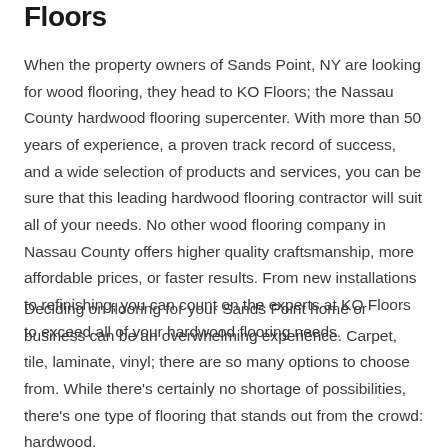Floors
When the property owners of Sands Point, NY are looking for wood flooring, they head to KO Floors; the Nassau County hardwood flooring supercenter. With more than 50 years of experience, a proven track record of success, and a wide selection of products and services, you can be sure that this leading hardwood flooring contractor will suit all of your needs. No other wood flooring company in Nassau County offers higher quality craftsmanship, more affordable prices, or faster results. From new installations to refinishing, you can count on the experts at KO Floors to exceed all of your hardwood flooring needs.
Deciding on flooring for your Sands Point home or business can be an overwhelming experience. Carpet, tile, laminate, vinyl; there are so many options to choose from. While there's certainly no shortage of possibilities, there's one type of flooring that stands out from the crowd: hardwood.